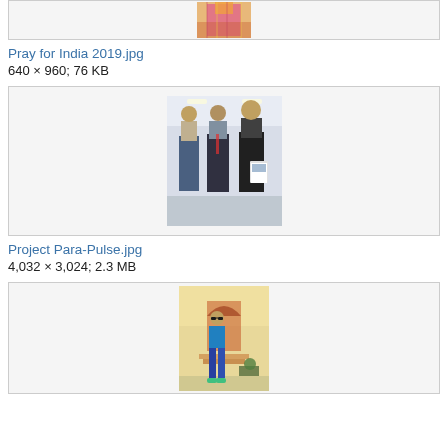[Figure (photo): Partial top image showing a person in colorful traditional Indian attire]
Pray for India 2019.jpg
640 × 960; 76 KB
[Figure (photo): Three men standing together in an office corridor, one holding a book/brochure]
Project Para-Pulse.jpg
4,032 × 3,024; 2.3 MB
[Figure (photo): A person in a blue top and jeans standing in front of a colorful building entrance]